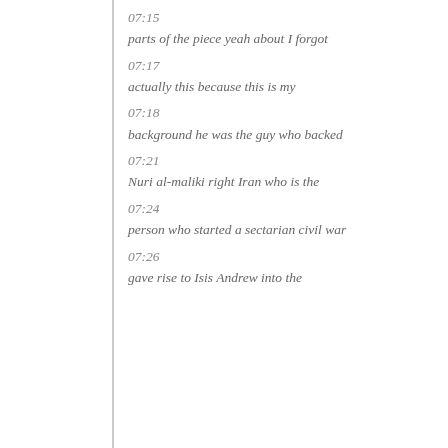07:15
parts of the piece yeah about I forgot
07:17
actually this because this is my
07:18
background he was the guy who backed
07:21
Nuri al-maliki right Iran who is the
07:24
person who started a sectarian civil war
07:26
gave rise to Isis Andrew into the